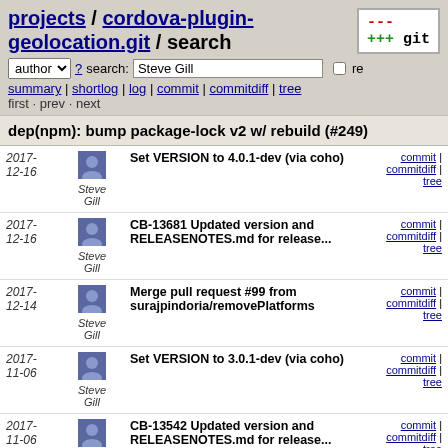projects / cordova-plugin-geolocation.git / search
author ? search: Steve Gill re
summary | shortlog | log | commit | commitdiff | tree
first · prev · next
dep(npm): bump package-lock v2 w/ rebuild (#249)
| Date | Author | Message | Links |
| --- | --- | --- | --- |
| 2017-12-16 | Steve Gill | Set VERSION to 4.0.1-dev (via coho) | commit | commitdiff | tree |
| 2017-12-16 | Steve Gill | CB-13681 Updated version and RELEASENOTES.md for release... | commit | commitdiff | tree |
| 2017-12-14 | Steve Gill | Merge pull request #99 from surajpindoria/removePlatforms | commit | commitdiff | tree |
| 2017-11-06 | Steve Gill | Set VERSION to 3.0.1-dev (via coho) | commit | commitdiff | tree |
| 2017-11-06 | Steve Gill | CB-13542 Updated version and RELEASENOTES.md for release... | commit | commitdiff | tree |
| 2017-11-02 | Steve Gill | Merge pull request #94 from jcesarmobile/CB-13267 | commit | commitdiff | tree |